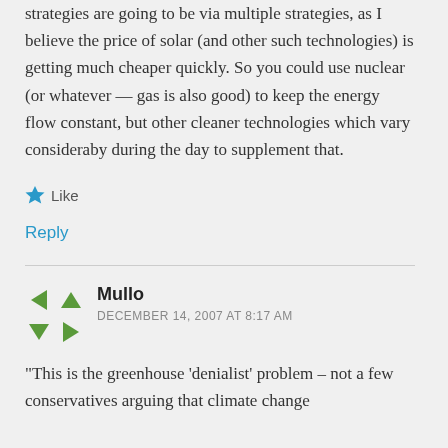strategies are going to be via multiple strategies, as I believe the price of solar (and other such technologies) is getting much cheaper quickly. So you could use nuclear (or whatever — gas is also good) to keep the energy flow constant, but other cleaner technologies which vary consideraby during the day to supplement that.
★ Like
Reply
Mullo
DECEMBER 14, 2007 AT 8:17 AM
“This is the greenhouse ‘denialist’ problem – not a few conservatives arguing that climate change